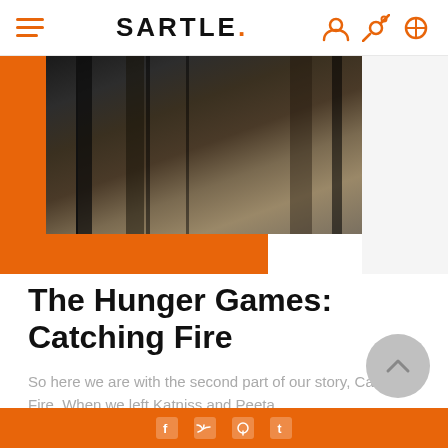SARTLE.
[Figure (photo): Book cover of The Hunger Games: Catching Fire shown against an orange background with partial orange rectangle decorative elements]
The Hunger Games: Catching Fire
So here we are with the second part of our story, Catching Fire. When we left Katniss and Peeta,...
Social media icons: Facebook, Twitter, Pinterest, Tumblr